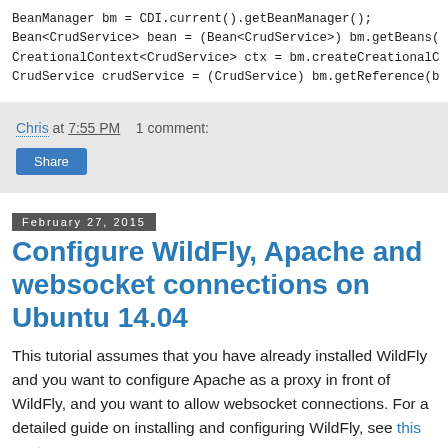BeanManager bm = CDI.current().getBeanManager();
Bean<CrudService> bean = (Bean<CrudService>) bm.getBeans(
CreationalContext<CrudService> ctx = bm.createCreationalC
CrudService crudService = (CrudService) bm.getReference(b
Chris at 7:55 PM    1 comment:
Share
February 27, 2015
Configure WildFly, Apache and websocket connections on Ubuntu 14.04
This tutorial assumes that you have already installed WildFly and you want to configure Apache as a proxy in front of WildFly, and you want to allow websocket connections. For a detailed guide on installing and configuring WildFly, see this post.